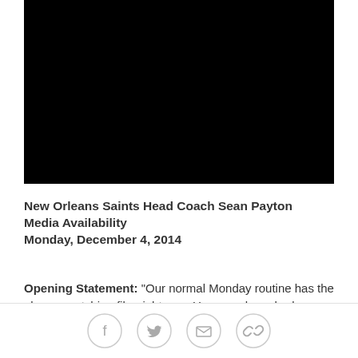[Figure (other): Black video player placeholder rectangle]
New Orleans Saints Head Coach Sean Payton Media Availability
Monday, December 4, 2014
Opening Statement: "Our normal Monday routine has the players watching film right now. You guys have had
[Figure (other): Social sharing icons: Facebook, Twitter, Email, Link]